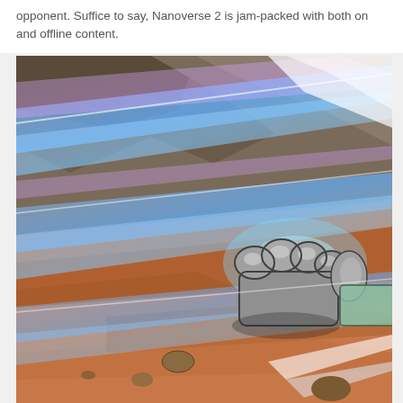opponent. Suffice to say, Nanoverse 2 is jam-packed with both on and offline content.
[Figure (illustration): Animated/illustrated action scene showing a metallic armored fist punching with blue energy light streaks across a rocky landscape background. Comic book or video game screenshot style artwork.]